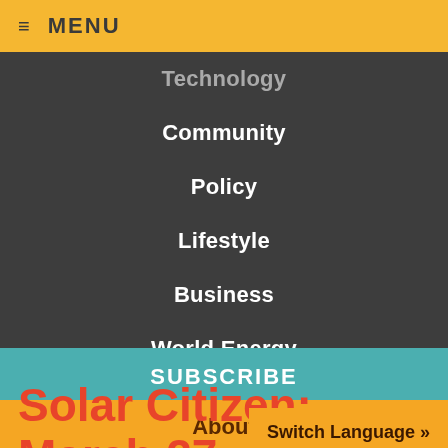≡ MENU
Technology
Community
Policy
Lifestyle
Business
World Energy
SUBSCRIBE
About
Advertise
Archives
Solar Citizen: March 27, 2014
Switch Language »